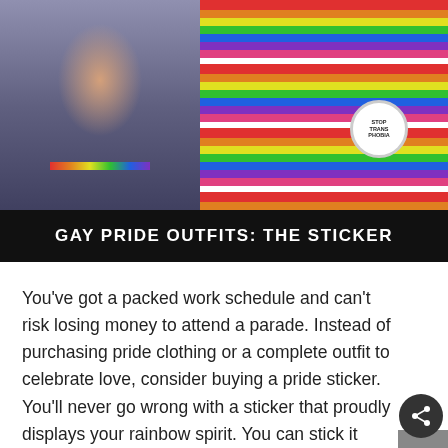[Figure (photo): Two photos side by side: left photo shows a person at a pride parade wearing rainbow suspenders and a heart design; right photo shows a person wearing a colorful rainbow-striped poncho with a 'Stop Transphobia' button/badge.]
GAY PRIDE OUTFITS: THE STICKER
You've got a packed work schedule and can't risk losing money to attend a parade. Instead of purchasing pride clothing or a complete outfit to celebrate love, consider buying a pride sticker. You'll never go wrong with a sticker that proudly displays your rainbow spirit. You can stick it anywhere, like on your car, motorcycle helmet, work desk, journal pages, calendar page, tumbler, or even your jacket. Stickers last longer when placed on t surfaces, but you can wear them on your parade